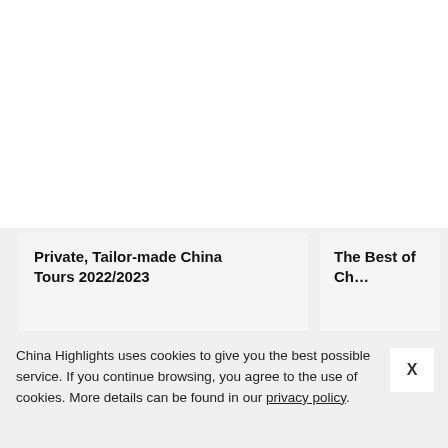Private, Tailor-made China Tours 2022/2023
The Best of Ch…
China Highlights uses cookies to give you the best possible service. If you continue browsing, you agree to the use of cookies. More details can be found in our privacy policy.